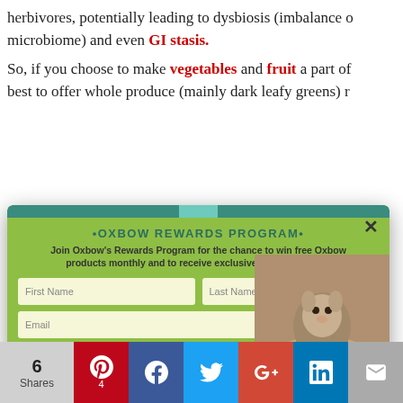herbivores, potentially leading to dysbiosis (imbalance of microbiome) and even GI stasis.
So, if you choose to make vegetables and fruit a part of best to offer whole produce (mainly dark leafy greens) r…
Myth #2: Juice is easier to whole fruits or vegetables,
"Easier to digest" is one of those claims that sounds good necessarily something to strive for in relation to healthy easy to digest are often characteristically high in s…
This site uses cookies to provide you with a great user experience. By using Oxbow Animal Health's website, you accept our use of cookies.
[Figure (screenshot): Oxbow Rewards Program popup modal with form fields for First Name, Last Name, Email, Subscribe button, and a photo of a small animal (chinchilla/rabbit) being held in hands.]
the animal efficient a
OK
6 Shares | Pinterest (4) | Facebook | Twitter | Google+ | LinkedIn | Email